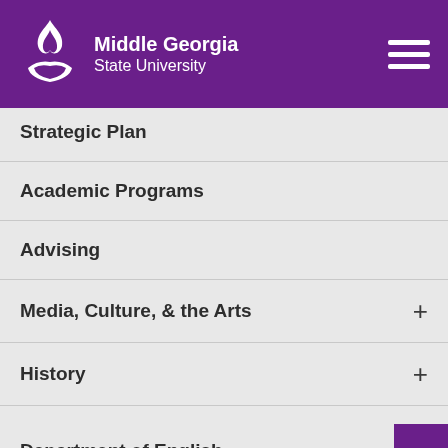[Figure (logo): Middle Georgia State University logo with flame icon on purple header background]
Middle Georgia State University
Strategic Plan
Academic Programs
Advising
Media, Culture, & the Arts
History
Department of English
Academic Programs
Advising